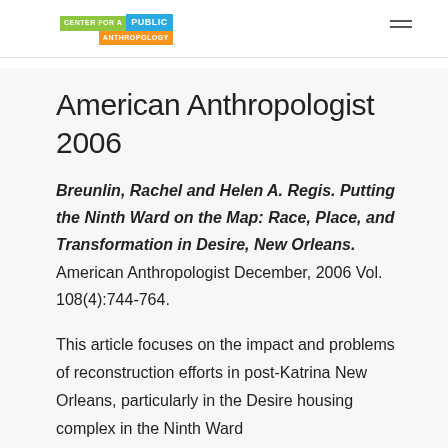CENTER FOR A PUBLIC ANTHROPOLOGY
American Anthropologist 2006
Breunlin, Rachel and Helen A. Regis. Putting the Ninth Ward on the Map: Race, Place, and Transformation in Desire, New Orleans. American Anthropologist December, 2006 Vol. 108(4):744-764.
This article focuses on the impact and problems of reconstruction efforts in post-Katrina New Orleans, particularly in the Desire housing complex in the Ninth Ward